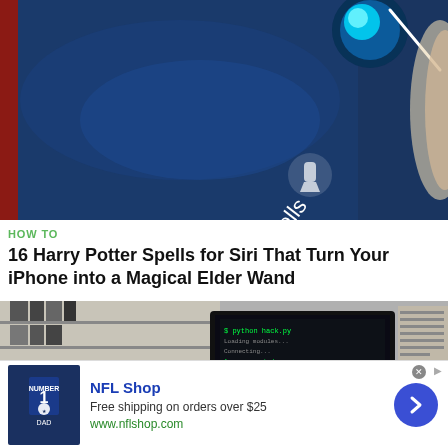[Figure (photo): Close-up of an iPhone screen showing Siri interface with 'Harry Potter spells' text visible, glowing Siri orb, on a blue background]
HOW TO
16 Harry Potter Spells for Siri That Turn Your iPhone into a Magical Elder Wand
[Figure (screenshot): Screenshot of a computer monitor displaying a dark screen, in an office environment]
[Figure (other): NFL Shop advertisement: NFL jersey image, 'NFL Shop' title in blue, 'Free shipping on orders over $25', 'www.nflshop.com', with a blue arrow button]